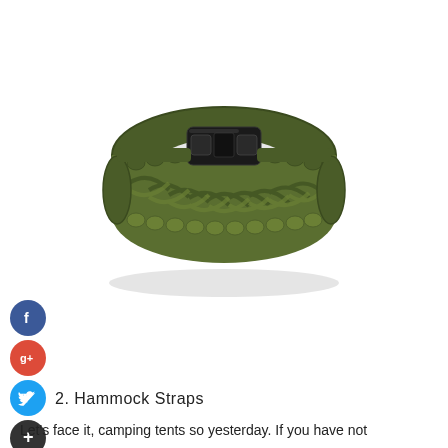[Figure (photo): A green braided paracord survival bracelet with a black plastic buckle clasp, photographed on a white background.]
2. Hammock Straps
Let's face it, camping tents so yesterday. If you have not